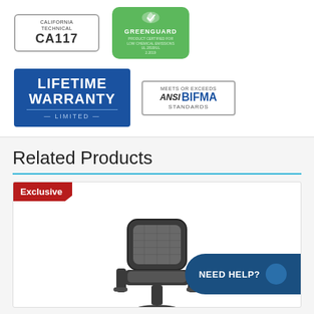[Figure (logo): California Technical CA117 certification badge - rounded rectangle border]
[Figure (logo): GREENGUARD certification badge - green rounded rectangle with leaf icon]
[Figure (logo): Lifetime Warranty Limited badge - blue rectangle]
[Figure (logo): Meets or Exceeds ANSI BIFMA Standards badge - rounded rectangle border]
Related Products
[Figure (photo): Office mesh chair product photo - black mesh back chair with armrests, shown from behind/side angle. Red Exclusive tag in top-left corner. Need Help? button in bottom-right.]